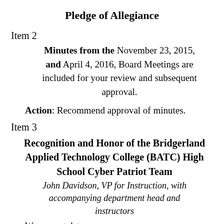Pledge of Allegiance
Item 2
Minutes from the November 23, 2015, and April 4, 2016, Board Meetings are included for your review and subsequent approval.
Action: Recommend approval of minutes.
Item 3
Recognition and Honor of the Bridgerland Applied Technology College (BATC) High School Cyber Patriot Team
John Davidson, VP for Instruction, with accompanying department head and instructors
We congratulate